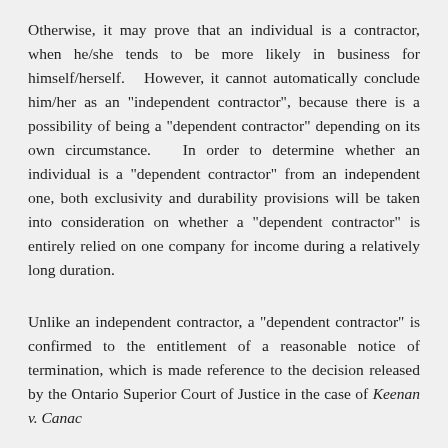Otherwise, it may prove that an individual is a contractor, when he/she tends to be more likely in business for himself/herself. However, it cannot automatically conclude him/her as an "independent contractor", because there is a possibility of being a "dependent contractor" depending on its own circumstance. In order to determine whether an individual is a "dependent contractor" from an independent one, both exclusivity and durability provisions will be taken into consideration on whether a "dependent contractor" is entirely relied on one company for income during a relatively long duration.
Unlike an independent contractor, a "dependent contractor" is confirmed to the entitlement of a reasonable notice of termination, which is made reference to the decision released by the Ontario Superior Court of Justice in the case of Keenan v. Canac